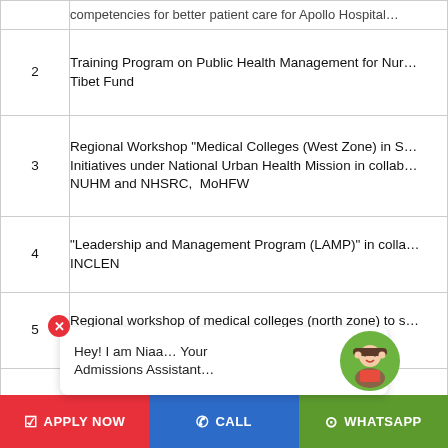| # | Program/Activity |
| --- | --- |
|  | competencies for better patient care for Apollo Hospital (truncated) |
| 2 | Training Program on Public Health Management for Nur... Tibet Fund |
| 3 | Regional Workshop "Medical Colleges (West Zone) in S... Initiatives under National Urban Health Mission in collab... NUHM and NHSRC, MoHFW |
| 4 | "Leadership and Management Program (LAMP)" in colla... INCLEN |
| 5 | Regional workshop of medical colleges (north zone) to s... initiatives with NUHM and NHSRC, MoHFW |
| 6 | Management Development Programme on Supply Chai... |
| 7 | Training... (truncated) |